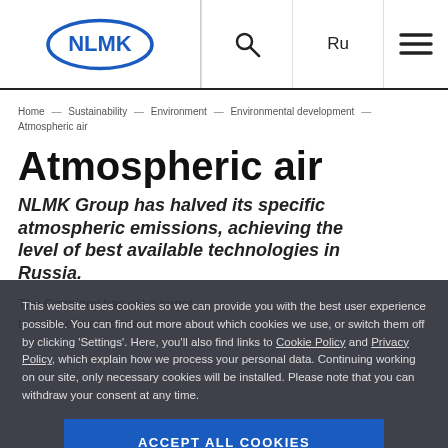[Figure (logo): NLMK logo — blue oval with NLMK text in white]
Ru  ☰
Home — Sustainability — Environment — Environmental development — Atmospheric air
Atmospheric air
NLMK Group has halved its specific atmospheric emissions, achieving the level of best available technologies in Russia.
The Company has set a target to reduce NLMK emissions to the
This website uses cookies so we can provide you with the best user experience possible. You can find out more about which cookies we use, or switch them off by clicking 'Settings'. Here, you'll also find links to Cookie Policy and Privacy Policy, which explain how we process your personal data. Continuing working on our site, only necessary cookies will be installed. Please note that you can withdraw your consent at any time.
ACCEPT ALL COOKIES
SETTINGS